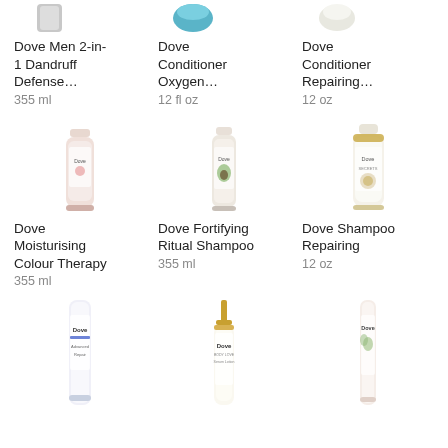[Figure (photo): Partial top of Dove Men 2-in-1 Dandruff Defense product (cropped at top)]
Dove Men 2-in-1 Dandruff Defense...
355 ml
[Figure (photo): Partial top of Dove Conditioner Oxygen product (blue cap, cropped at top)]
Dove Conditioner Oxygen...
12 fl oz
[Figure (photo): Partial top of Dove Conditioner Repairing product (cropped at top)]
Dove Conditioner Repairing...
12 oz
[Figure (photo): Dove Moisturising Colour Therapy bottle, pink/white, 355 ml]
Dove Moisturising Colour Therapy
355 ml
[Figure (photo): Dove Fortifying Ritual Shampoo bottle with avocado design, 355 ml]
Dove Fortifying Ritual Shampoo
355 ml
[Figure (photo): Dove Shampoo Repairing bottle, white/gold, 12 oz]
Dove Shampoo Repairing
12 oz
[Figure (photo): Partial Dove bottle (blue/white), bottom portion cut off]
[Figure (photo): Partial Dove bottle with pump (gold cap), bottom portion cut off]
[Figure (photo): Partial Dove bottle (pink/white), bottom portion cut off]